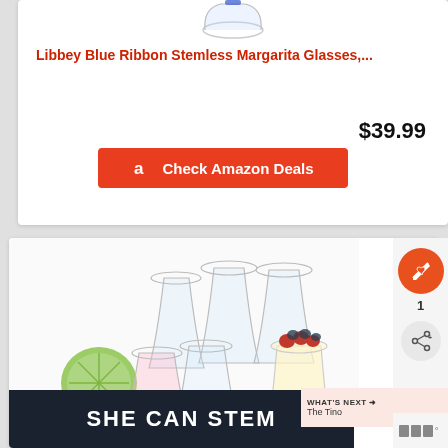[Figure (photo): Partial view of a stemless margarita glass at the top of the first product card]
Libbey Blue Ribbon Stemless Margarita Glasses,...
$39.99
Check Amazon Deals
[Figure (photo): Multiple clear stemless glasses with a lime wedge and a dessert cup with berries on white background]
1
WHAT'S NEXT → The Tino
SHE CAN STEM